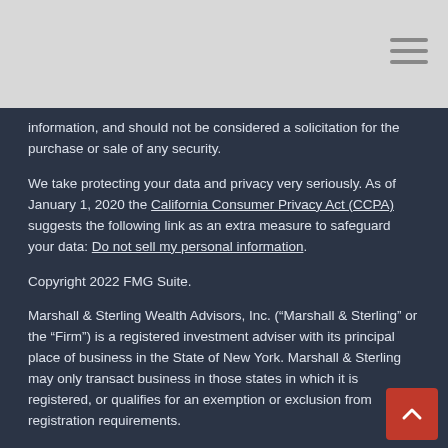information, and should not be considered a solicitation for the purchase or sale of any security.
We take protecting your data and privacy very seriously. As of January 1, 2020 the California Consumer Privacy Act (CCPA) suggests the following link as an extra measure to safeguard your data: Do not sell my personal information.
Copyright 2022 FMG Suite.
Marshall & Sterling Wealth Advisors, Inc. (“Marshall & Sterling” or the “Firm”) is a registered investment adviser with its principal place of business in the State of New York. Marshall & Sterling may only transact business in those states in which it is registered, or qualifies for an exemption or exclusion from registration requirements.
Marshall & Sterling’s website is limited to the dissemination of general information regarding its investment advisory services to